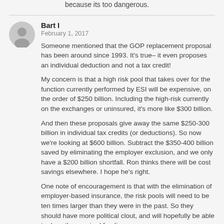because its too dangerous.
Bart I
February 1, 2017
Someone mentioned that the GOP replacement proposal has been around since 1993. It's true– it even proposes an individual deduction and not a tax credit!
My concern is that a high risk pool that takes over for the function currently performed by ESI will be expensive, on the order of $250 billion. Including the high-risk currently on the exchanges or uninsured, it's more like $300 billion.
And then these proposals give away the same $250-300 billion in individual tax credits (or deductions). So now we're looking at $600 billion. Subtract the $350-400 billion saved by eliminating the employer exclusion, and we only have a $200 billion shortfall. Ron thinks there will be cost savings elsewhere. I hope he's right.
One note of encouragement is that with the elimination of employer-based insurance, the risk pools will need to be ten times larger than they were in the past. So they should have more political clout, and will hopefully be able to draw the required funding.